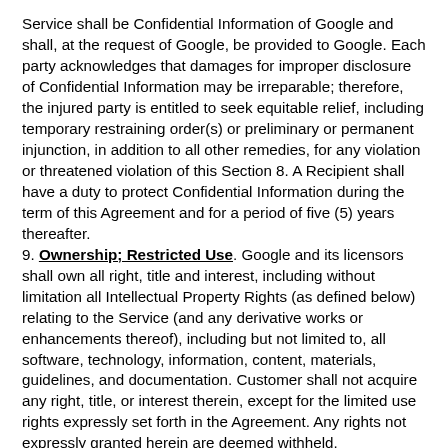Service shall be Confidential Information of Google and shall, at the request of Google, be provided to Google. Each party acknowledges that damages for improper disclosure of Confidential Information may be irreparable; therefore, the injured party is entitled to seek equitable relief, including temporary restraining order(s) or preliminary or permanent injunction, in addition to all other remedies, for any violation or threatened violation of this Section 8. A Recipient shall have a duty to protect Confidential Information during the term of this Agreement and for a period of five (5) years thereafter.
9. Ownership; Restricted Use. Google and its licensors shall own all right, title and interest, including without limitation all Intellectual Property Rights (as defined below) relating to the Service (and any derivative works or enhancements thereof), including but not limited to, all software, technology, information, content, materials, guidelines, and documentation. Customer shall not acquire any right, title, or interest therein, except for the limited use rights expressly set forth in the Agreement. Any rights not expressly granted herein are deemed withheld. "Intellectual Property Rights" means any and all rights existing from time to time under patent law, copyright law, semiconductor chip protection law, moral rights law, trade secret law, trademark law, unfair competition law, publicity rights law, privacy rights law, and any and all other proprietary rights, and any and all applications, renewals, extensions and restorations thereof, now or hereafter in force and effect worldwide. Google does not own third party content used as part of the Service, including the content of communications appearing on the Service. Title, ownership rights, and Intellectual Property Rights in and to the content accessed through the Service are the property of the